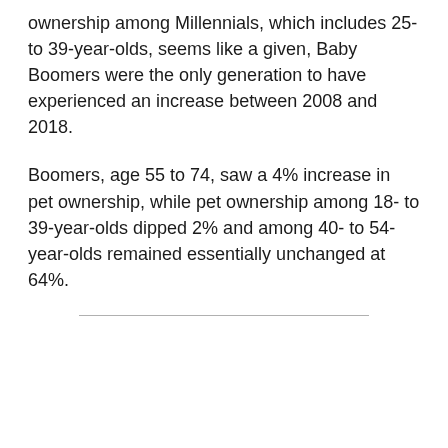ownership among Millennials, which includes 25- to 39-year-olds, seems like a given, Baby Boomers were the only generation to have experienced an increase between 2008 and 2018.
Boomers, age 55 to 74, saw a 4% increase in pet ownership, while pet ownership among 18- to 39-year-olds dipped 2% and among 40- to 54-year-olds remained essentially unchanged at 64%.